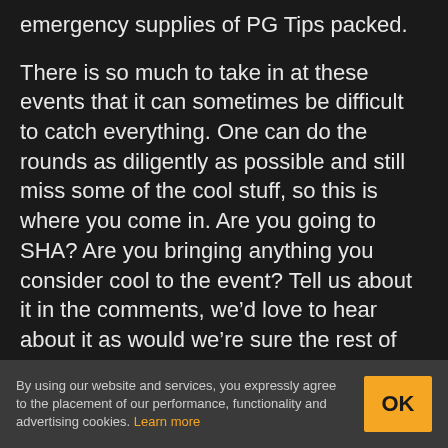emergency supplies of PG Tips packed.
There is so much to take in at these events that it can sometimes be difficult to catch everything. One can do the rounds as diligently as possible and still miss some of the cool stuff, so this is where you come in. Are you going to SHA? Are you bringing anything you consider cool to the event? Tell us about it in the comments, we’d love to hear about it as would we’re sure the rest of our readers.
Meanwhile, if you think you’ve missed the
By using our website and services, you expressly agree to the placement of our performance, functionality and advertising cookies. Learn more
OK